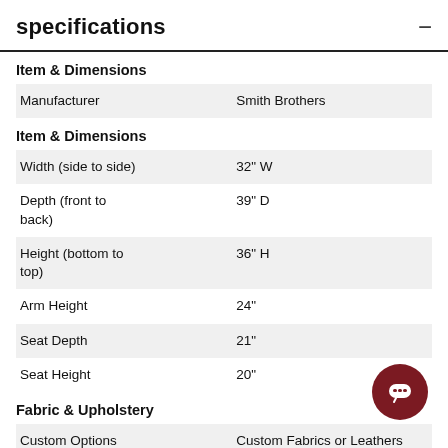specifications
|  |  |
| --- | --- |
| Manufacturer | Smith Brothers |
|  |  |
| --- | --- |
| Width (side to side) | 32" W |
| Depth (front to back) | 39" D |
| Height (bottom to top) | 36" H |
| Arm Height | 24" |
| Seat Depth | 21" |
| Seat Height | 20" |
|  |  |
| --- | --- |
| Custom Options | Custom Fabrics or Leathers |